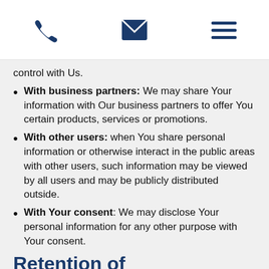[phone icon] [mail icon] [menu icon]
control with Us.
With business partners: We may share Your information with Our business partners to offer You certain products, services or promotions.
With other users: when You share personal information or otherwise interact in the public areas with other users, such information may be viewed by all users and may be publicly distributed outside.
With Your consent: We may disclose Your personal information for any other purpose with Your consent.
Retention of